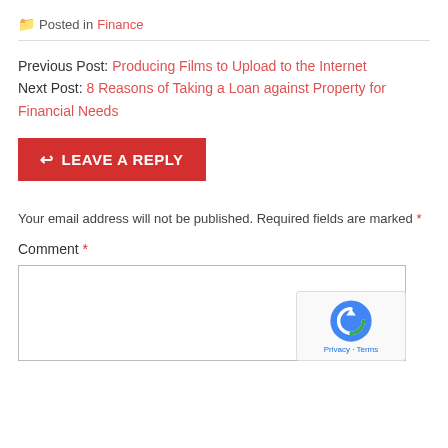📁 Posted in Finance
Previous Post: Producing Films to Upload to the Internet
Next Post: 8 Reasons of Taking a Loan against Property for Financial Needs
↩ LEAVE A REPLY
Your email address will not be published. Required fields are marked *
Comment *